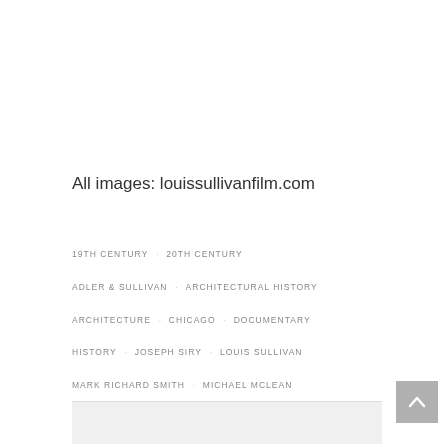All images: louissullivanfilm.com
19TH CENTURY
20TH CENTURY
ADLER & SULLIVAN
ARCHITECTURAL HISTORY
ARCHITECTURE
CHICAGO
DOCUMENTARY
HISTORY
JOSEPH SIRY
LOUIS SULLIVAN
MARK RICHARD SMITH
MICHAEL MCLEAN
PETE BIAGI
ROBERT TWOMBLY
SKYSCRAPER
SULLIVAN
TIM SAMUELSON
WENDY BRIGHT
WHITECAP FILMS